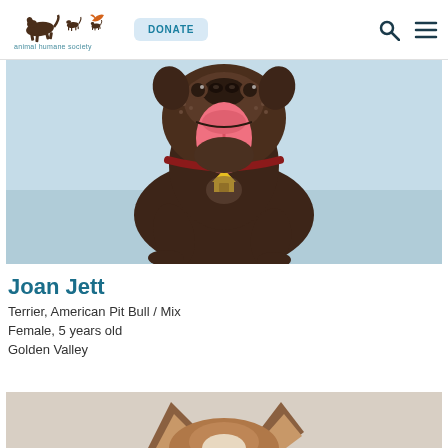Animal Humane Society — DONATE [nav icons]
[Figure (photo): Close-up photo of a brown/chocolate pit bull mix dog with tongue out, wearing a red collar and yellow house-shaped tag, standing on a light blue surface.]
Joan Jett
Terrier, American Pit Bull / Mix
Female, 5 years old
Golden Valley
[Figure (photo): Partial photo of a cat from behind/above showing ears and top of head, brown and white coloring, light grey background.]